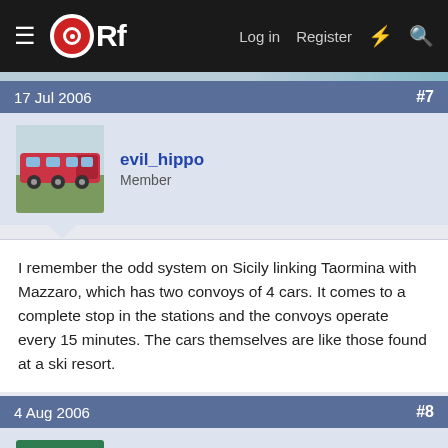ORf — Log in   Register
17 Jul 2006   #7
evil_hippo
Member
I remember the odd system on Sicily linking Taormina with Mazzaro, which has two convoys of 4 cars. It comes to a complete stop in the stations and the convoys operate every 15 minutes. The cars themselves are like those found at a ski resort.
4 Aug 2006   #8
Gareth Hale
Member
I was up in Scotland last week, and decided to go in one, at the first part, I was terrified, but as time went on I grew comfortable, we did not